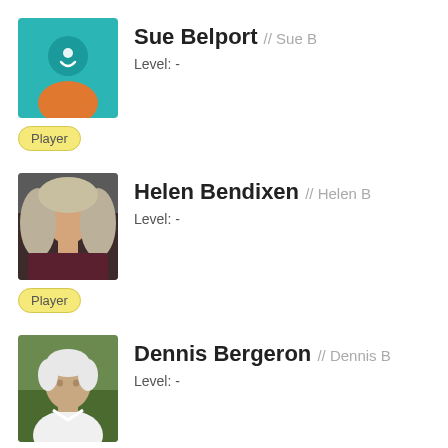[Figure (illustration): Avatar placeholder icon with teal background, silhouette figure in white with orange shirt]
Sue Belport // Sue B
Level: -
Player
[Figure (photo): Photo of a woman with blonde/grey hair]
Helen Bendixen // Helen B
Level: -
Player
[Figure (photo): Photo of an elderly man in a white shirt]
Dennis Bergeron // Dennis B
Level: -